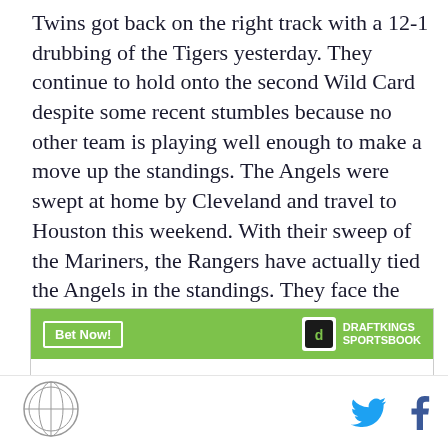Twins got back on the right track with a 12-1 drubbing of the Tigers yesterday. They continue to hold onto the second Wild Card despite some recent stumbles because no other team is playing well enough to make a move up the standings. The Angels were swept at home by Cleveland and travel to Houston this weekend. With their sweep of the Mariners, the Rangers have actually tied the Angels in the standings. They face the Athletics seven times and the Astros three times in the last week and half of the season.
[Figure (other): DraftKings Sportsbook betting widget showing 'Bet Now!' button, DraftKings Sportsbook logo, player name 'Mitch Haniger', and a partially visible odds/lines row below.]